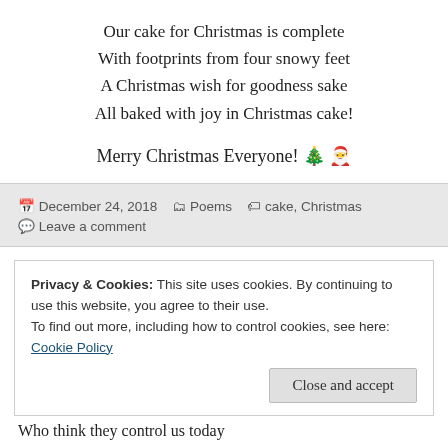Our cake for Christmas is complete
With footprints from four snowy feet
A Christmas wish for goodness sake
All baked with joy in Christmas cake!
Merry Christmas Everyone! 🎄🎅
December 24, 2018   Poems   cake, Christmas   Leave a comment
Privacy & Cookies: This site uses cookies. By continuing to use this website, you agree to their use.
To find out more, including how to control cookies, see here: Cookie Policy
Close and accept
Who think they control us today